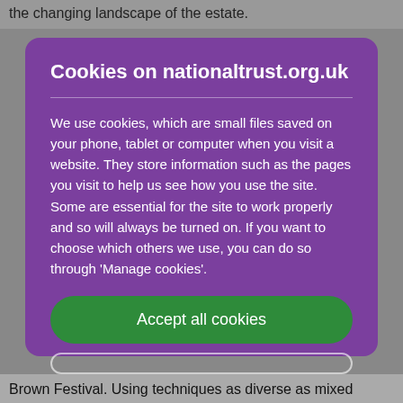the changing landscape of the estate.
Cookies on nationaltrust.org.uk
We use cookies, which are small files saved on your phone, tablet or computer when you visit a website. They store information such as the pages you visit to help us see how you use the site. Some are essential for the site to work properly and so will always be turned on. If you want to choose which others we use, you can do so through 'Manage cookies'.
Accept all cookies
Brown Festival. Using techniques as diverse as mixed